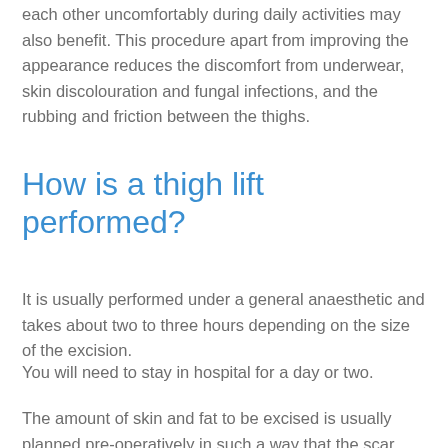each other uncomfortably during daily activities may also benefit. This procedure apart from improving the appearance reduces the discomfort from underwear, skin discolouration and fungal infections, and the rubbing and friction between the thighs.
How is a thigh lift performed?
It is usually performed under a general anaesthetic and takes about two to three hours depending on the size of the excision.
You will need to stay in hospital for a day or two.
The amount of skin and fat to be excised is usually planned pre-operatively in such a way that the scar